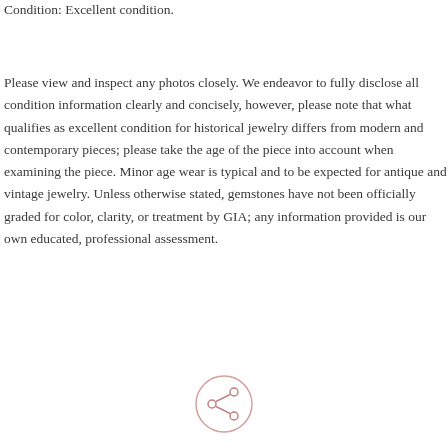Condition: Excellent condition.
Please view and inspect any photos closely. We endeavor to fully disclose all condition information clearly and concisely, however, please note that what qualifies as excellent condition for historical jewelry differs from modern and contemporary pieces; please take the age of the piece into account when examining the piece. Minor age wear is typical and to be expected for antique and vintage jewelry. Unless otherwise stated, gemstones have not been officially graded for color, clarity, or treatment by GIA; any information provided is our own educated, professional assessment.
[Figure (illustration): A circular share/social icon button with a light pink/salmon border and a share symbol (connected nodes) in the center]